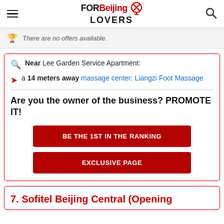FORBeijingLOVERS
There are no offers available.
Near Lee Garden Service Apartment:
a 14 meters away massage center: Liangzi Foot Massage
Are you the owner of the business? PROMOTE IT!
BE THE 1ST IN THE RANKING
EXCLUSIVE PAGE
7. Sofitel Beijing Central (Opening